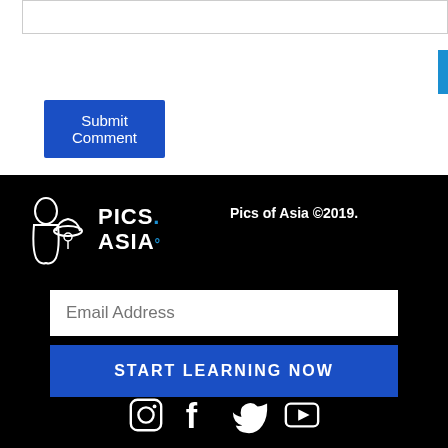[Figure (screenshot): Input text field (comment box) at top of page]
Submit Comment
[Figure (logo): Pics of Asia logo — outline drawing of a person and hat, with text PICS ASIA]
Pics of Asia ©2019.
Email Address
START LEARNING NOW
[Figure (other): Social media icons: Instagram, Facebook, Twitter, YouTube]